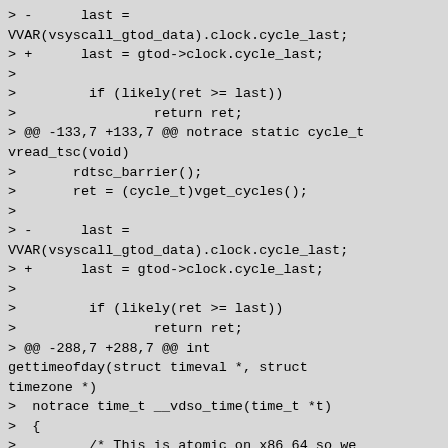> -      last =
VVAR(vsyscall_gtod_data).clock.cycle_last;
> +      last = gtod->clock.cycle_last;
>
>         if (likely(ret >= last))
>                 return ret;
> @@ -133,7 +133,7 @@ notrace static cycle_t vread_tsc(void)
>       rdtsc_barrier();
>       ret = (cycle_t)vget_cycles();
>
> -      last =
VVAR(vsyscall_gtod_data).clock.cycle_last;
> +      last = gtod->clock.cycle_last;
>
>         if (likely(ret >= last))
>                 return ret;
> @@ -288,7 +288,7 @@ int gettimeofday(struct timeval *, struct timezone *)
>  notrace time_t __vdso_time(time_t *t)
>  {
>         /* This is atomic on x86_64 so we don't need any locks. */
> -      time_t result =